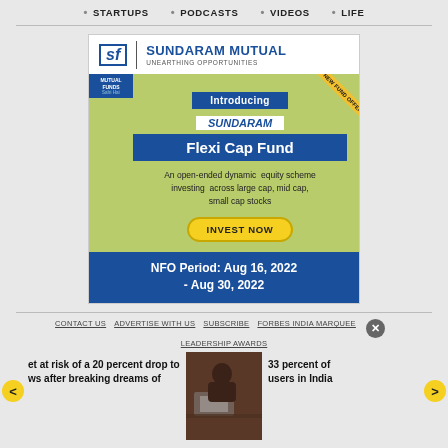STARTUPS · PODCASTS · VIDEOS · LIFE
[Figure (illustration): Sundaram Mutual Fund advertisement for Sundaram Flexi Cap Fund NFO. Shows the SF logo and brand name 'SUNDARAM MUTUAL - UNEARTHING OPPORTUNITIES', a green panel introducing the Sundaram Flexi Cap Fund as 'An open-ended dynamic equity scheme investing across large cap, mid cap, small cap stocks' with an INVEST NOW button, and a blue footer with 'NFO Period: Aug 16, 2022 - Aug 30, 2022'.]
CONTACT US  ADVERTISE WITH US  SUBSCRIBE  FORBES INDIA MARQUEE  LEADERSHIP AWARDS
et at risk of a 20 percent drop to ws after breaking dreams of
33 percent of users in India